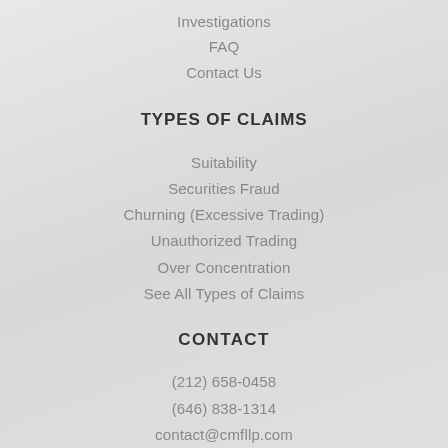Investigations
FAQ
Contact Us
TYPES OF CLAIMS
Suitability
Securities Fraud
Churning (Excessive Trading)
Unauthorized Trading
Over Concentration
See All Types of Claims
CONTACT
(212) 658-0458
(646) 838-1314
contact@cmfllp.com